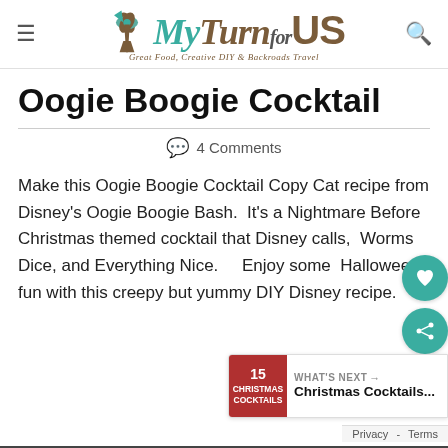MyTurn for US — Great Food, Creative DIY & Backroads Travel
Oogie Boogie Cocktail
4 Comments
Make this Oogie Boogie Cocktail Copy Cat recipe from Disney's Oogie Boogie Bash.  It's a Nightmare Before Christmas themed cocktail that Disney calls,  Worms Dice, and Everything Nice.    Enjoy some  Halloween fun with this creepy but yummy DIY Disney recipe.